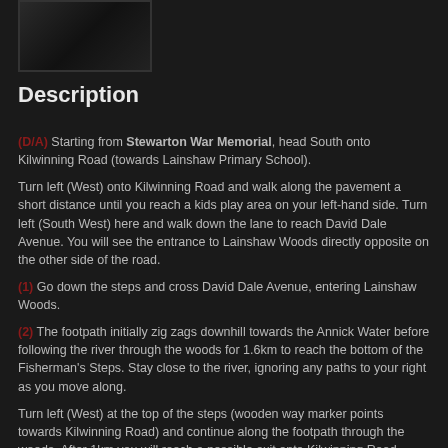[Figure (photo): Small dark photograph, contents indistinct, appears to show a person or outdoor scene]
Description
(D/A) Starting from Stewarton War Memorial, head South onto Kilwinning Road (towards Lainshaw Primary School).
Turn left (West) onto Kilwinning Road and walk along the pavement a short distance until you reach a kids play area on your left-hand side. Turn left (South West) here and walk down the lane to reach David Dale Avenue. You will see the entrance to Lainshaw Woods directly opposite on the other side of the road.
(1) Go down the steps and cross David Dale Avenue, entering Lainshaw Woods.
(2) The footpath initially zig zags downhill towards the Annick Water before following the river through the woods for 1.6km to reach the bottom of the Fisherman's Steps. Stay close to the river, ignoring any paths to your right as you move along.
Turn left (West) at the top of the steps (wooden way marker points towards Kilwinning Road) and continue along the footpath through the woods. After 1km you will reach a possible exit onto Kilwinning Road – Ignore this exit.